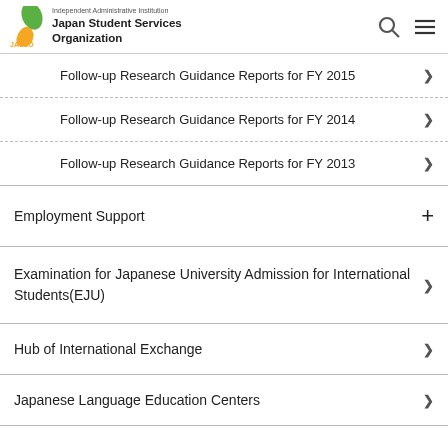Independent Administrative Institution Japan Student Services Organization JASSO
Follow-up Research Guidance Reports for FY 2015
Follow-up Research Guidance Reports for FY 2014
Follow-up Research Guidance Reports for FY 2013
Employment Support
Examination for Japanese University Admission for International Students(EJU)
Hub of International Exchange
Japanese Language Education Centers